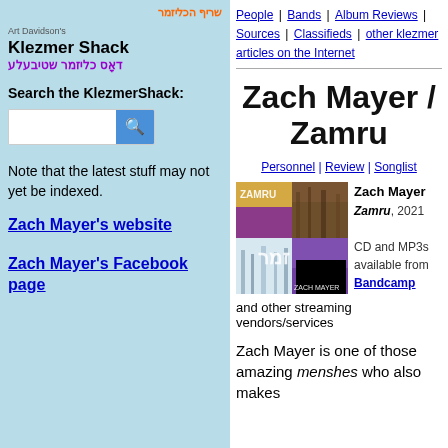[Figure (logo): Klezmer Shack logo with Hebrew text]
Search the KlezmerShack:
Loading
Note that the latest stuff may not yet be indexed.
Zach Mayer's website
Zach Mayer's Facebook page
People | Bands | Album Reviews | Sources | Classifieds | other klezmer articles on the Internet
Zach Mayer / Zamru
Personnel | Review | Songlist
[Figure (photo): Album cover for Zamru by Zach Mayer, showing four quadrant images with Hebrew text and ZACH MAYER text]
Zach Mayer Zamru, 2021
CD and MP3s available from Bandcamp
and other streaming vendors/services
Zach Mayer is one of those amazing menshes who also makes